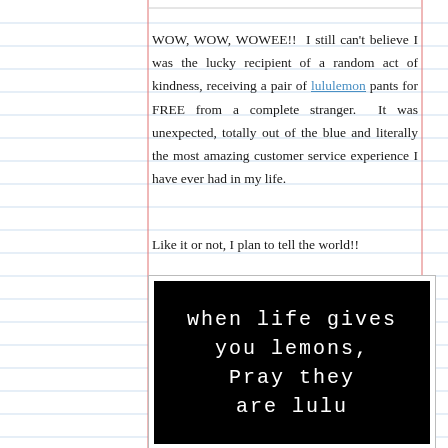WOW, WOW, WOWEE!!  I still can't believe I was the lucky recipient of a random act of kindness, receiving a pair of lululemon pants for FREE from a complete stranger.  It was unexpected, totally out of the blue and literally the most amazing customer service experience I have ever had in my life.
Like it or not, I plan to tell the world!!
[Figure (photo): Black background image with white handwritten-style text reading: 'when life gives you lemons, Pray they are lulu']